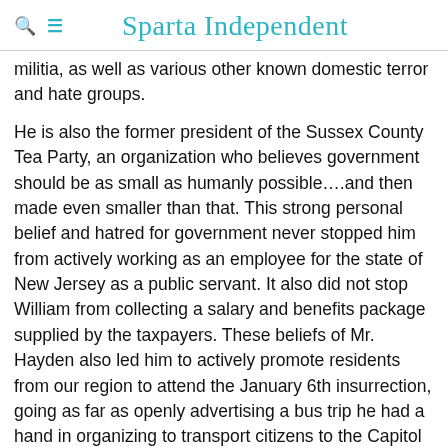Sparta Independent
militia, as well as various other known domestic terror and hate groups.
He is also the former president of the Sussex County Tea Party, an organization who believes government should be as small as humanly possible….and then made even smaller than that. This strong personal belief and hatred for government never stopped him from actively working as an employee for the state of New Jersey as a public servant. It also did not stop William from collecting a salary and benefits package supplied by the taxpayers. These beliefs of Mr. Hayden also led him to actively promote residents from our region to attend the January 6th insurrection, going as far as openly advertising a bus trip he had a hand in organizing to transport citizens to the Capitol attack.